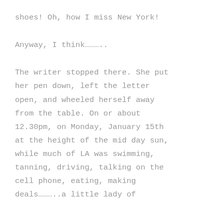shoes! Oh, how I miss New York!
Anyway, I think………..
The writer stopped there. She put her pen down, left the letter open, and wheeled herself away from the table. On or about 12.30pm, on Monday, January 15th at the height of the mid day sun, while much of LA was swimming, tanning, driving, talking on the cell phone, eating, making deals………..a little lady of